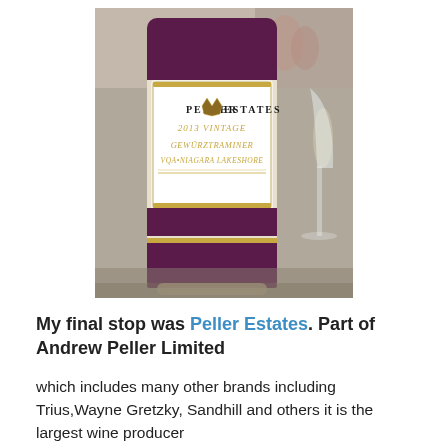[Figure (photo): Close-up photo of a Peller Estates wine bottle showing the label: 2013 Vintage Gewurztraminer VQA Niagara Lakeshore. The bottle has a dark purple/maroon label band with a white center label. A wine glass is partially visible to the right.]
My final stop was Peller Estates. Part of Andrew Peller Limited
which includes many other brands including Trius, Wayne Gretzky, Sandhill and others it is the largest wine producer